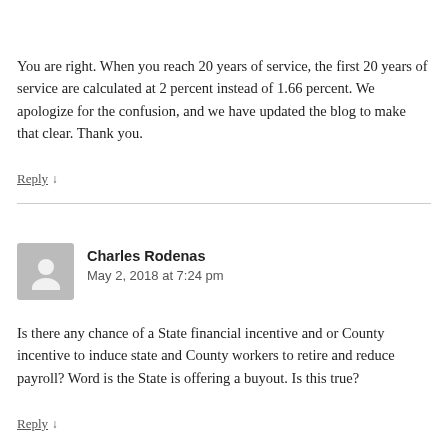You are right. When you reach 20 years of service, the first 20 years of service are calculated at 2 percent instead of 1.66 percent. We apologize for the confusion, and we have updated the blog to make that clear. Thank you.
Reply ↓
Charles Rodenas
May 2, 2018 at 7:24 pm
Is there any chance of a State financial incentive and or County incentive to induce state and County workers to retire and reduce payroll? Word is the State is offering a buyout. Is this true?
Reply ↓